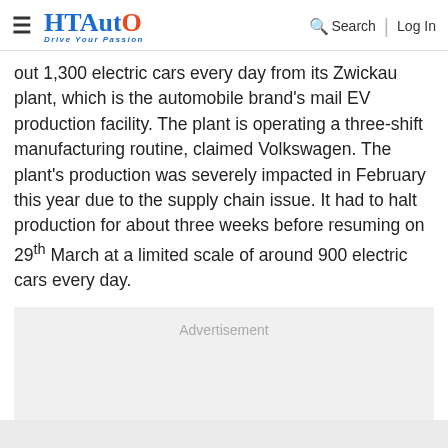HT Auto - Drive Your Passion | Search | Log In
out 1,300 electric cars every day from its Zwickau plant, which is the automobile brand's mail EV production facility. The plant is operating a three-shift manufacturing routine, claimed Volkswagen. The plant's production was severely impacted in February this year due to the supply chain issue. It had to halt production for about three weeks before resuming on 29th March at a limited scale of around 900 electric cars every day.
[Figure (other): Advertisement placeholder box with grey background]